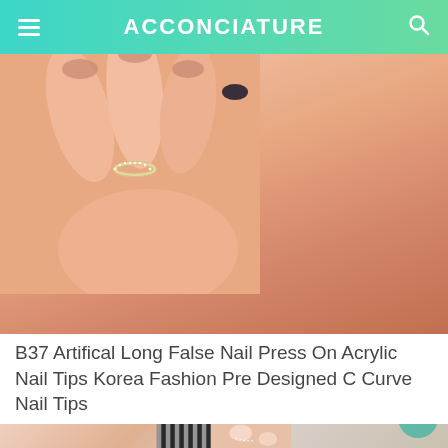ACCONCIATURE
[Figure (photo): Close-up photo of a hand with fingers showing a delicate diamond eternity band ring on one finger, with blurred nails visible.]
B37 Artifical Long False Nail Press On Acrylic Nail Tips Korea Fashion Pre Designed C Curve Nail Tips
[Figure (photo): Close-up photo of manicured nails with a crystal/rhinestone nail art design, with a black and white patterned fabric in background.]